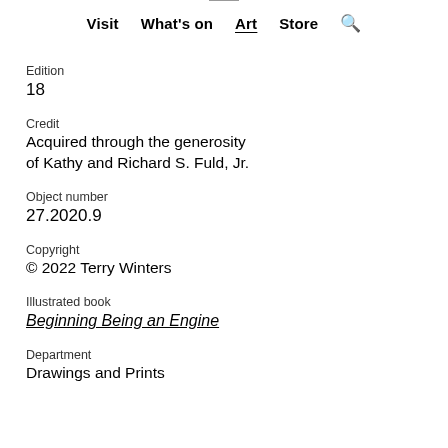Visit  What's on  Art  Store  🔍
Edition
18
Credit
Acquired through the generosity of Kathy and Richard S. Fuld, Jr.
Object number
27.2020.9
Copyright
© 2022 Terry Winters
Illustrated book
Beginning Being an Engine
Department
Drawings and Prints